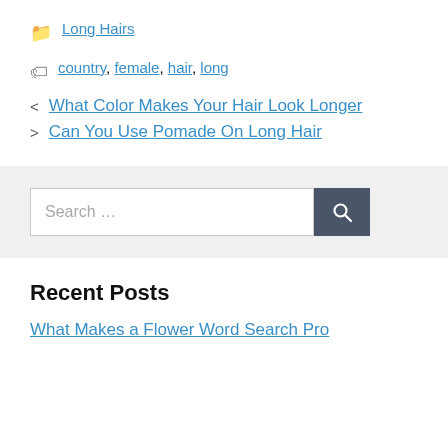Long Hairs
country, female, hair, long
What Color Makes Your Hair Look Longer
Can You Use Pomade On Long Hair
[Figure (other): Search bar with text input field reading 'Search …' and a dark gray search button with a magnifying glass icon]
Recent Posts
What Makes a Flower Word Search Pro